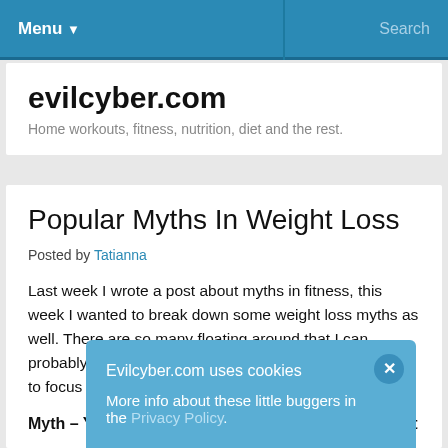Menu ▾  Search
evilcyber.com
Home workouts, fitness, nutrition, diet and the rest.
Popular Myths In Weight Loss
Posted by Tatianna
Last week I wrote a post about myths in fitness, this week I wanted to break down some weight loss myths as well.  There are so many floating around that I can probably write a whole book about them, but I am going to focus on some of the most important ones.
Myth – You Have To Count Calories To Lose Weight
Fa... out you... es so... he rig...
Evilcyber.com uses cookies
More info about these little buggers in the Privacy Policy.